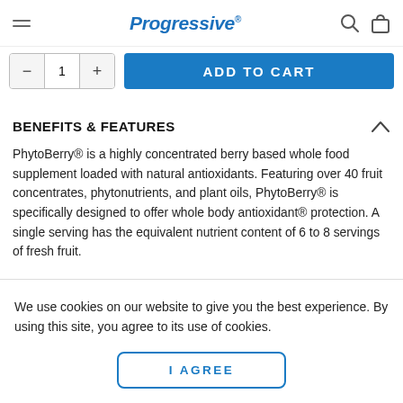Progressive
[Figure (screenshot): Add to cart quantity selector with minus, 1, plus buttons and blue ADD TO CART button]
BENEFITS & FEATURES
PhytoBerry® is a highly concentrated berry based whole food supplement loaded with natural antioxidants. Featuring over 40 fruit concentrates, phytonutrients, and plant oils, PhytoBerry® is specifically designed to offer whole body antioxidant® protection. A single serving has the equivalent nutrient content of 6 to 8 servings of fresh fruit.
Whole Body Antioxidants
We use cookies on our website to give you the best experience. By using this site, you agree to its use of cookies.